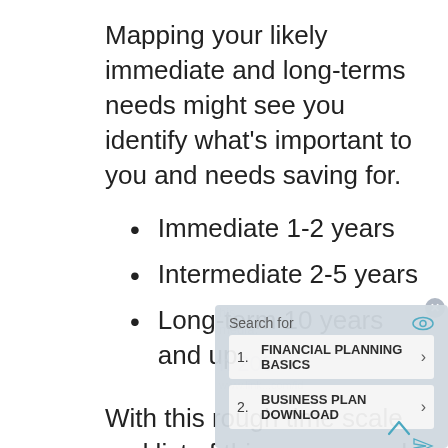Mapping your likely immediate and long-terms needs might see you identify what's important to you and needs saving for.
Immediate 1-2 years
Intermediate 2-5 years
Long-term 10 years and up
With this rough time scale and list of things you need and might want (yes,
[Figure (other): Advertisement overlay with search results: 1. FINANCIAL PLANNING BASICS, 2. BUSINESS PLAN DOWNLOAD]